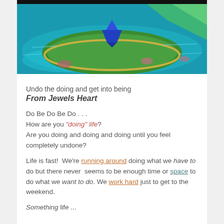[Figure (illustration): Colorful digital painting of a blue origami boat on a teal/turquoise water surface with lily pads and reflections, black border at top]
Undo the doing and get into being
From Jewels Heart
Do Be Do Be Do . . .
How are you "doing" life?
Are you doing and doing and doing until you feel completely undone?
Life is fast! We're running around doing what we have to do but there never seems to be enough time or space to do what we want to do. We work hard just to get to the weekend.
Something life ...